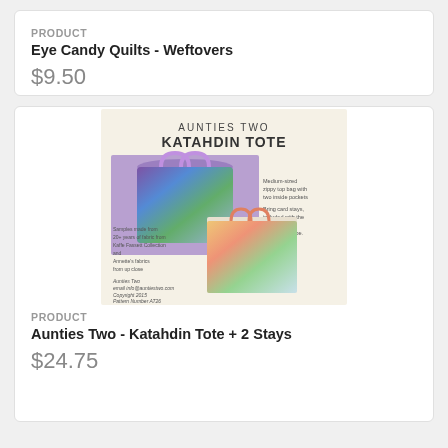PRODUCT
Eye Candy Quilts - Weftovers
$9.50
[Figure (photo): Product cover image for Aunties Two Katahdin Tote sewing pattern, showing two colorful quilted tote bags.]
PRODUCT
Aunties Two - Katahdin Tote + 2 Stays
$24.75